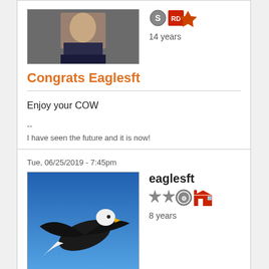[Figure (photo): User avatar: photo of a man in a suit]
14 years
Congrats Eaglesft
Enjoy your COW
--
I have seen the future and it is now!
Tue, 06/25/2019 - 7:45pm
[Figure (photo): User avatar: bald eagle flying against blue sky]
eaglesft
8 years
Thank You
The COW is much appreciated. This site has always been a great source of information so I would like to extend my thanks to everyone for their continued